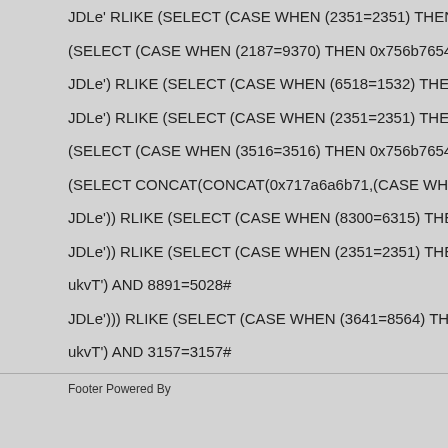JDLe' RLIKE (SELECT (CASE WHEN (2351=2351) THEN 0x4a444
(SELECT (CASE WHEN (2187=9370) THEN 0x756b7654 ELSE (SE
JDLe') RLIKE (SELECT (CASE WHEN (6518=1532) THEN 0x4a444
JDLe') RLIKE (SELECT (CASE WHEN (2351=2351) THEN 0x4a444
(SELECT (CASE WHEN (3516=3516) THEN 0x756b7654 ELSE (SE
(SELECT CONCAT(CONCAT(0x717a6a6b71,(CASE WHEN (9582=
JDLe')) RLIKE (SELECT (CASE WHEN (8300=6315) THEN 0x4a44
JDLe')) RLIKE (SELECT (CASE WHEN (2351=2351) THEN 0x4a44
ukvT') AND 8891=5028#
JDLe'))) RLIKE (SELECT (CASE WHEN (3641=8564) THEN 0x4a4
ukvT') AND 3157=3157#
Footer Powered By